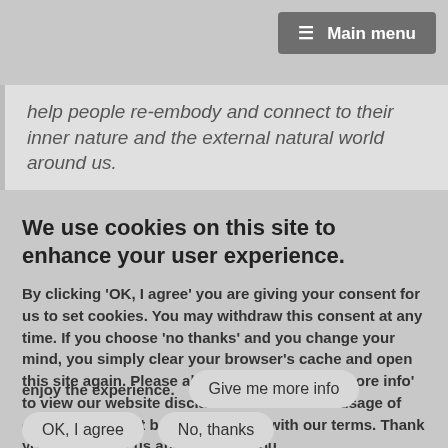≡ Main menu
help people re-embody and connect to their inner nature and the external natural world around us.
We use cookies on this site to enhance your user experience.
By clicking 'OK, I agree' you are giving your consent for us to set cookies. You may withdraw this consent at any time. If you choose 'no thanks' and you change your mind, you simply clear your browser's cache and open this site again. Please also click on 'Give me more info' to view our website disclaimer as continued usage of our website must be in agreement with our terms. Thank you for visiting us and we hope you enjoy the experience.
Give me more info
OK, I agree
No, thanks